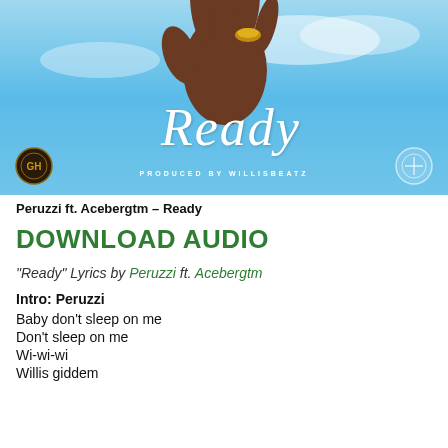[Figure (photo): Album art for 'Ready' by Peruzzi ft. Acebergtm. Blue sky background with a hand reaching up wearing a gold ring. Cursive 'Ready' text in white with 'PRODUCED BY WILLISBEATZ' below. Two circular logos on bottom corners.]
Peruzzi ft. Acebergtm – Ready
DOWNLOAD AUDIO
“Ready” Lyrics by Peruzzi ft. Acebergtm
Intro: Peruzzi
Baby don’t sleep on me
Don’t sleep on me
Wi-wi-wi
Willis giddem